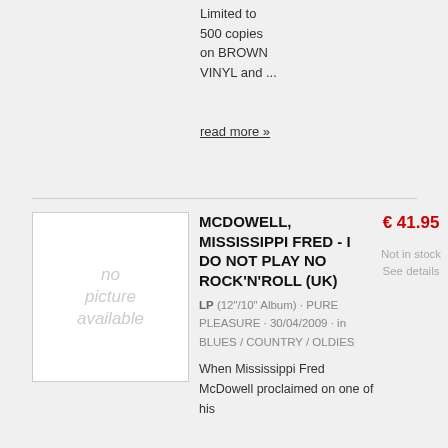Limited to 500 copies on BROWN VINYL and ...
read more »
[Figure (other): No picture available placeholder image for album]
MCDOWELL, MISSISSIPPI FRED - I DO NOT PLAY NO ROCK'N'ROLL (UK)
LP (12"/10" Album) · PURE PLEASURE · 30/04/2009 · in BLUES / COUNTRY / OLDIES
€ 41.95
Not in stock See details
When Mississippi Fred McDowell proclaimed on one of his